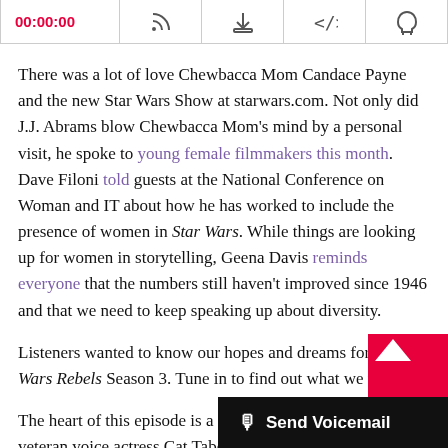00:00:00
There was a lot of love Chewbacca Mom Candace Payne and the new Star Wars Show at starwars.com. Not only did J.J. Abrams blow Chewbacca Mom’s mind by a personal visit, he spoke to young female filmmakers this month. Dave Filoni told guests at the National Conference on Woman and IT about how he has worked to include the presence of women in Star Wars. While things are looking up for women in storytelling, Geena Davis reminds everyone that the numbers still haven’t improved since 1946 and that we need to keep speaking up about diversity.
Listeners wanted to know our hopes and dreams for Star Wars Rebels Season 3. Tune in to find out what we think!
The heart of this episode is a fun interview with Star Wars veteran voice actress Cat Taber. Lea...